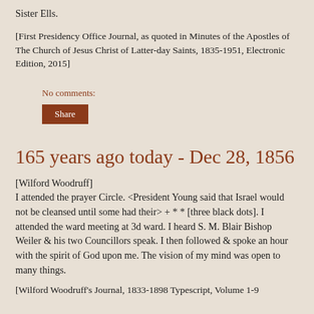Sister Ells.
[First Presidency Office Journal, as quoted in Minutes of the Apostles of The Church of Jesus Christ of Latter-day Saints, 1835-1951, Electronic Edition, 2015]
No comments:
Share
165 years ago today - Dec 28, 1856
[Wilford Woodruff]
I attended the prayer Circle. <President Young said that Israel would not be cleansed until some had their> + * * [three black dots]. I attended the ward meeting at 3d ward. I heard S. M. Blair Bishop Weiler & his two Councillors speak. I then followed & spoke an hour with the spirit of God upon me. The vision of my mind was open to many things.
[Wilford Woodruff's Journal, 1833-1898 Typescript, Volume 1-9